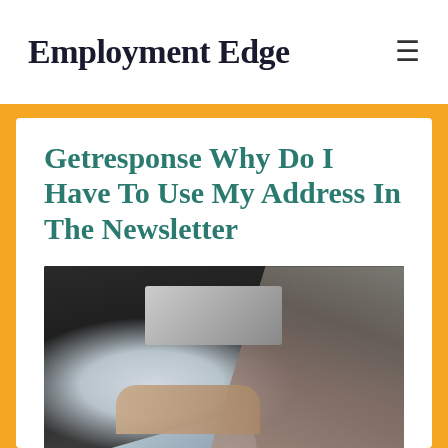Employment Edge
Getresponse Why Do I Have To Use My Address In The Newsletter
[Figure (photo): Person typing on a laptop at a dark table, with a second laptop visible in the background and another person's hand visible.]